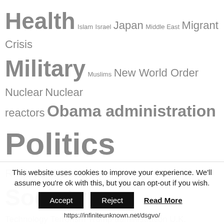[Figure (infographic): Tag cloud with topics: Health, Islam, Israel, Japan, Middle East, Migrant Crisis, Military, Muslims, New World Order, Nuclear, Nuclear reactors, Obama administration, Politics, Radiation, Russia, Science, Sex, Society, Syria, Technology, Terrorism, Trump administration, U.K., U.S.]
Gold/Silver
24 hour Gold 1711.40 ▼ -1.10   24 hour Silver 18.14 ▲ +0.09
This website uses cookies to improve your experience. We'll assume you're ok with this, but you can opt-out if you wish.
Accept   Reject   Read More
https://infiniteunknown.net/dsgvo/